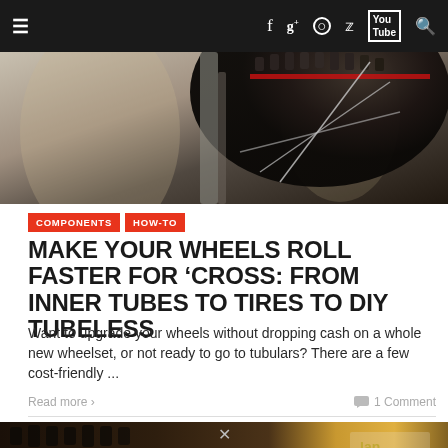≡  f  g+  ⊙  🐦  You Tube  🔍
[Figure (photo): Close-up photo of a bicycle wheel with muddy cross/mountain bike tire tread, spokes visible, blurred background]
COMPONENTS  HOW-TO
MAKE YOUR WHEELS ROLL FASTER FOR 'CROSS: FROM INNER TUBES TO TIRES TO DIY TUBELESS
Want to upgrade your wheels without dropping cash on a whole new wheelset, or not ready to go to tubulars? There are a few cost-friendly ...
Read more ›   1 Comment
[Figure (photo): Close-up photo of dark muddy cyclocross tires with yellow/golden elements in background]